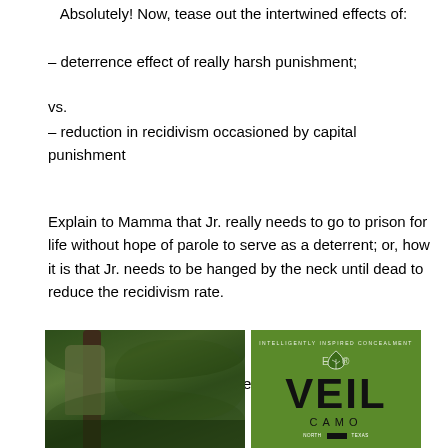Absolutely! Now, tease out the intertwined effects of:
– deterrence effect of really harsh punishment;
vs.
– reduction in recidivism occasioned by capital punishment
Explain to Mamma that Jr. really needs to go to prison for life without hope of parole to serve as a deterrent; or, how it is that Jr. needs to be hanged by the neck until dead to reduce the recidivism rate.
Then, ask Mamma to go to the polls: vote early; the children!
[Figure (photo): Person in camouflage gear positioned in a tree stand in a wooded area]
[Figure (logo): VEIL CAMO logo on green background with tagline text]